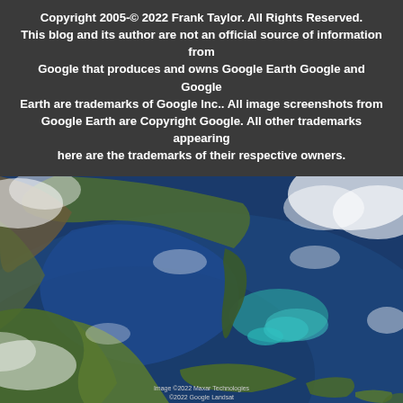Copyright 2005-© 2022 Frank Taylor. All Rights Reserved. This blog and its author are not an official source of information from Google that produces and owns Google Earth Google and Google Earth are trademarks of Google Inc.. All image screenshots from Google Earth are Copyright Google. All other trademarks appearing here are the trademarks of their respective owners.
[Figure (map): Google Earth satellite view showing the Gulf of Mexico, southeastern United States including Florida, Cuba, Central America, and the Caribbean, with cloud cover visible.]